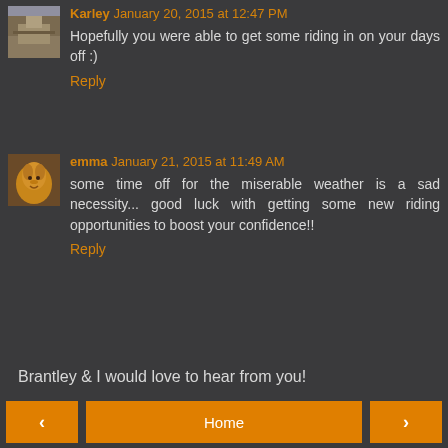Karley January 20, 2015 at 12:47 PM
Hopefully you were able to get some riding in on your days off :)
Reply
[Figure (photo): Avatar thumbnail of Karley showing a barn/ranch scene]
emma January 21, 2015 at 11:49 AM
some time off for the miserable weather is a sad necessity... good luck with getting some new riding opportunities to boost your confidence!!
Reply
[Figure (photo): Avatar thumbnail of emma showing a horse head]
Brantley & I would love to hear from you!
< Home >